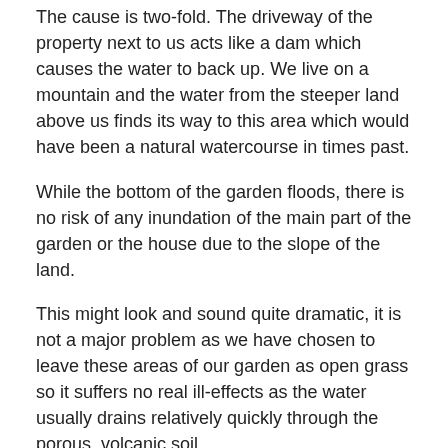The cause is two-fold. The driveway of the property next to us acts like a dam which causes the water to back up. We live on a mountain and the water from the steeper land above us finds its way to this area which would have been a natural watercourse in times past.
While the bottom of the garden floods, there is no risk of any inundation of the main part of the garden or the house due to the slope of the land.
This might look and sound quite dramatic, it is not a major problem as we have chosen to leave these areas of our garden as open grass so it suffers no real ill-effects as the water usually drains relatively quickly through the porous, volcanic soil.
It is not actually raining at present, however, the forecast is for continuing heavy rain for the next 48 hours.